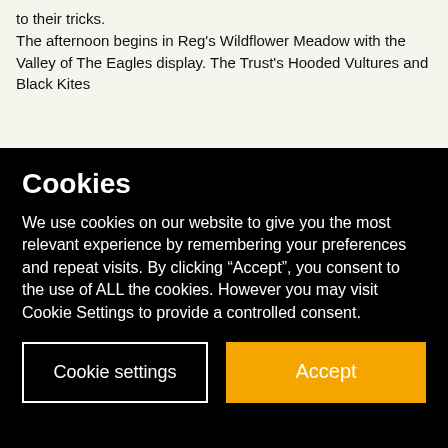to their tricks.
The afternoon begins in Reg's Wildflower Meadow with the Valley of The Eagles display. The Trust's Hooded Vultures and Black Kites
Cookies
We use cookies on our website to give you the most relevant experience by remembering your preferences and repeat visits. By clicking “Accept”, you consent to the use of ALL the cookies. However you may visit Cookie Settings to provide a controlled consent.
Cookie settings
Accept